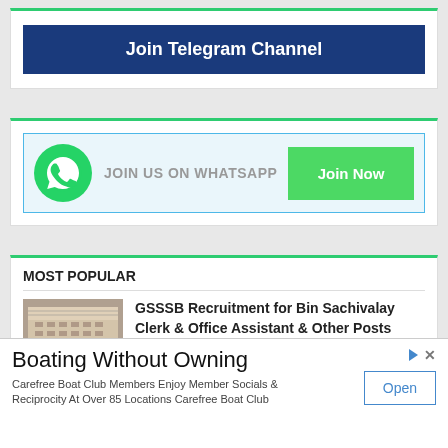[Figure (infographic): Join Telegram Channel button — dark blue banner with white bold text]
[Figure (infographic): WhatsApp join banner with green WhatsApp icon, 'JOIN US ON WHATSAPP' text, and green 'Join Now' button]
MOST POPULAR
[Figure (photo): Photo of a government building (GSSSB)]
GSSSB Recruitment for Bin Sachivalay Clerk & Office Assistant & Other Posts 2019 (OJAS) (Reopen)
Boating Without Owning
Carefree Boat Club Members Enjoy Member Socials & Reciprocity At Over 85 Locations Carefree Boat Club